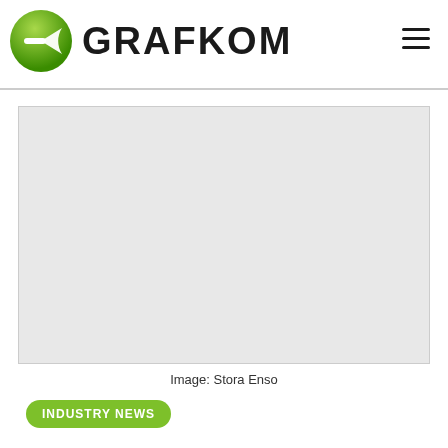GRAFKOM
[Figure (photo): Large light grey placeholder image box representing an image credited to Stora Enso]
Image: Stora Enso
INDUSTRY NEWS